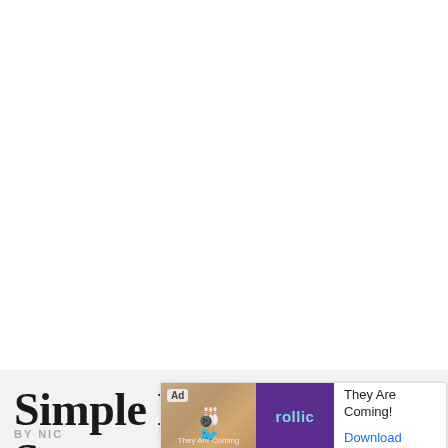[Figure (photo): Large photograph of a food dish (Simple Miso Soba Soup), mostly white/off-white background taking up the top ~83% of the page]
Simple Miso Soba Soup
BY NIC
[Figure (screenshot): Advertisement overlay banner: Ad badge, bowling lane image with character, purple Rollic logo block, text 'They Are Coming!' and 'Download' link]